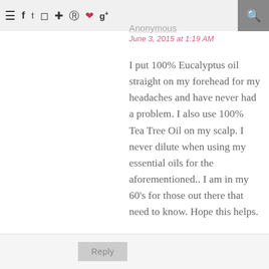≡  f  t  [instagram] [pinterest] [pinterest] ♥  g+  [search]
Anonymous
June 3, 2015 at 1:19 AM
I put 100% Eucalyptus oil straight on my forehead for my headaches and have never had a problem. I also use 100% Tea Tree Oil on my scalp. I never dilute when using my essential oils for the aforementioned.. I am in my 60's for those out there that need to know. Hope this helps.
Reply